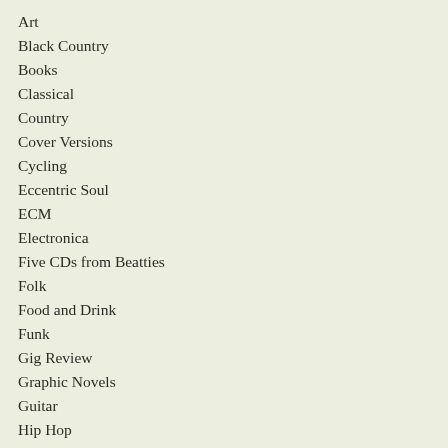Art
Black Country
Books
Classical
Country
Cover Versions
Cycling
Eccentric Soul
ECM
Electronica
Five CDs from Beatties
Folk
Food and Drink
Funk
Gig Review
Graphic Novels
Guitar
Hip Hop
How To Listen To Jazz